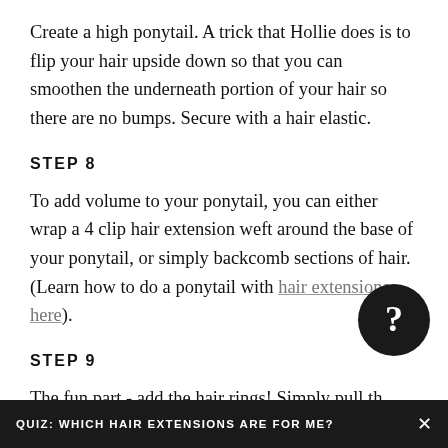Create a high ponytail. A trick that Hollie does is to flip your hair upside down so that you can smoothen the underneath portion of your hair so there are no bumps. Secure with a hair elastic.
STEP 8
To add volume to your ponytail, you can either wrap a 4 clip hair extension weft around the base of your ponytail, or simply backcomb sections of hair. (Learn how to do a ponytail with hair extensions here).
STEP 9
The fun part - add the hair rings! Simply pull th apart, and weave them into your braid. Hollie app
QUIZ: WHICH HAIR EXTENSIONS ARE FOR ME?